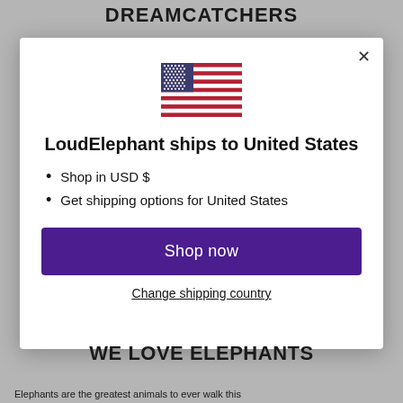DREAMCATCHERS
[Figure (illustration): US flag SVG illustration inside modal dialog]
LoudElephant ships to United States
Shop in USD $
Get shipping options for United States
Shop now
Change shipping country
WE LOVE ELEPHANTS
Elephants are the greatest animals to ever walk this